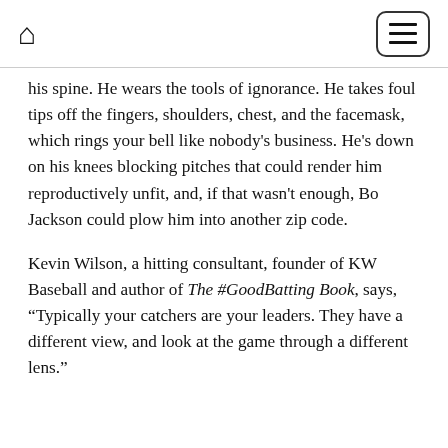[home icon] [menu button]
his spine. He wears the tools of ignorance. He takes foul tips off the fingers, shoulders, chest, and the facemask, which rings your bell like nobody's business. He's down on his knees blocking pitches that could render him reproductively unfit, and, if that wasn't enough, Bo Jackson could plow him into another zip code.
Kevin Wilson, a hitting consultant, founder of KW Baseball and author of The #GoodBatting Book, says, "Typically your catchers are your leaders. They have a different view, and look at the game through a different lens."